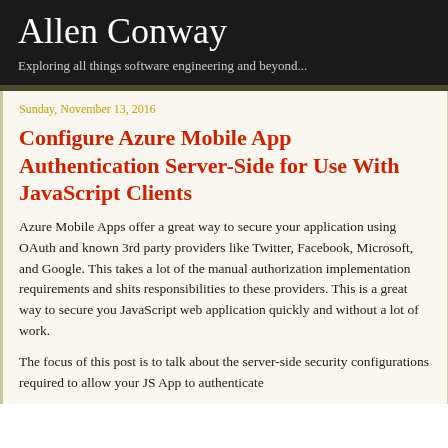Allen Conway
Exploring all things software engineering and beyond...
Sunday, November 13, 2016
Configure Azure Mobile App Authentication Server-Side for Use With JavaScript Clients
Azure Mobile Apps offer a great way to secure your application using OAuth and known 3rd party providers like Twitter, Facebook, Microsoft, and Google. This takes a lot of the manual authorization implementation requirements and shits responsibilities to these providers. This is a great way to secure you JavaScript web application quickly and without a lot of work.
The focus of this post is to talk about the server-side security configurations required to allow your JS App to authenticate